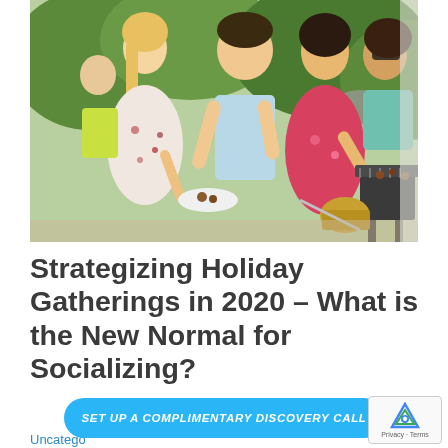[Figure (photo): Group of friends socializing at an outdoor barbecue, smiling and serving food from a grill]
Strategizing Holiday Gatherings in 2020 – What is the New Normal for Socializing?
Uncategо...
SET UP A COMPLIMENTARY DISCOVERY CALL